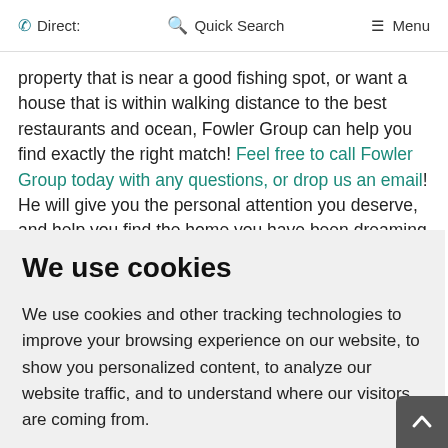Direct:   Quick Search   Menu
property that is near a good fishing spot, or want a house that is within walking distance to the best restaurants and ocean, Fowler Group can help you find exactly the right match! Feel free to call Fowler Group today with any questions, or drop us an email! He will give you the personal attention you deserve, and help you find the home you have been dreaming of in Southern Delaware.
We use cookies
We use cookies and other tracking technologies to improve your browsing experience on our website, to show you personalized content, to analyze our website traffic, and to understand where our visitors are coming from.
OK   Change my preferences